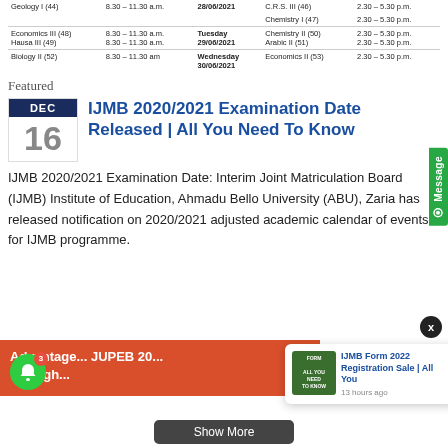| Subject | Time | Day | Subject | Time |
| --- | --- | --- | --- | --- |
| Geology I (44) | 8.30 – 11.30 a.m. |  | C.R.S. III (46) | 2.30 – 5.30 p.m. |
|  |  |  | Chemistry I (47) | 2.30 – 5.30 p.m. |
| Economics III (48) | 8.30 – 11.30 a.m. | Tuesday 29/06/2021 | Chemistry II (50) | 2.30 – 5.30 p.m. |
| Hausa III (49) | 8.30 – 11.30 a.m. |  | Arabic II (51) | 2.30 – 5.30 p.m. |
| Biology II (52) | 8.30 – 11.30 am | Wednesday 30/06/2021 | Economics II (53) | 2.30 – 5.30 p.m. |
Featured
IJMB 2020/2021 Examination Date Released | All You Need To Know
IJMB 2020/2021 Examination Date: Interim Joint Matriculation Board (IJMB) Institute of Education, Ahmadu Bello University (ABU), Zaria has released notification on 2020/2021 adjusted academic calendar of events for IJMB programme.
Advantage... JUPEB 20... through...
IJMB Form 2022 Registration Sale | All You
13 hours ago
Show More